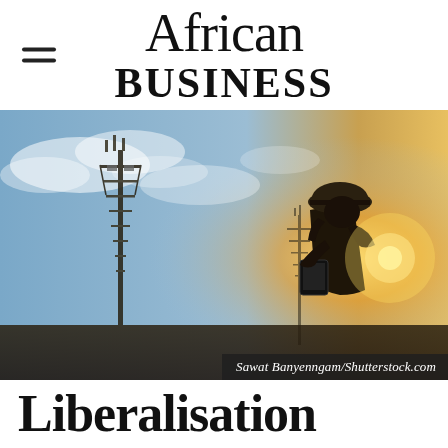African Business
[Figure (photo): Silhouette of a construction worker wearing a hard hat and holding a tablet, with telecommunications towers in the background against a partly cloudy sky, backlit by bright sunlight. Photo credit: Sawat Banyenngam/Shutterstock.com]
Liberalisation